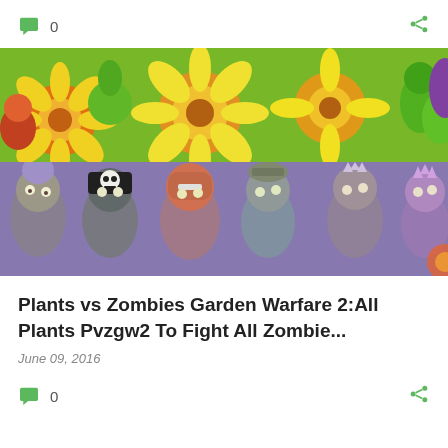0
[Figure (photo): Top banner image split into two horizontal strips: upper strip shows colorful cartoon plants from Plants vs Zombies (sunflowers, peashooters, etc.), lower strip shows various cartoon zombies from Plants vs Zombies Garden Warfare 2]
Plants vs Zombies Garden Warfare 2:All Plants Pvzgw2 To Fight All Zombie...
June 09, 2016
0